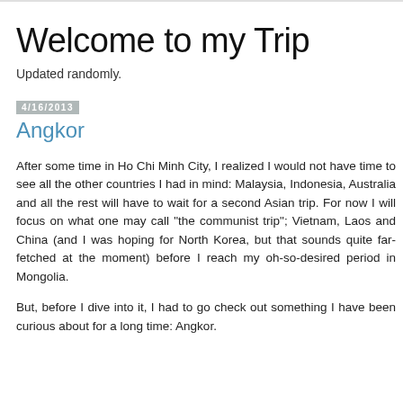Welcome to my Trip
Updated randomly.
4/16/2013
Angkor
After some time in Ho Chi Minh City, I realized I would not have time to see all the other countries I had in mind: Malaysia, Indonesia, Australia and all the rest will have to wait for a second Asian trip. For now I will focus on what one may call "the communist trip"; Vietnam, Laos and China (and I was hoping for North Korea, but that sounds quite far-fetched at the moment) before I reach my oh-so-desired period in Mongolia.
But, before I dive into it, I had to go check out something I have been curious about for a long time: Angkor.